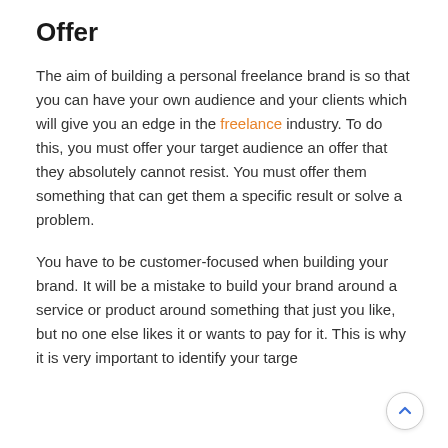Offer
The aim of building a personal freelance brand is so that you can have your own audience and your clients which will give you an edge in the freelance industry. To do this, you must offer your target audience an offer that they absolutely cannot resist. You must offer them something that can get them a specific result or solve a problem.
You have to be customer-focused when building your brand. It will be a mistake to build your brand around a service or product around something that just you like, but no one else likes it or wants to pay for it. This is why it is very important to identify your targe...